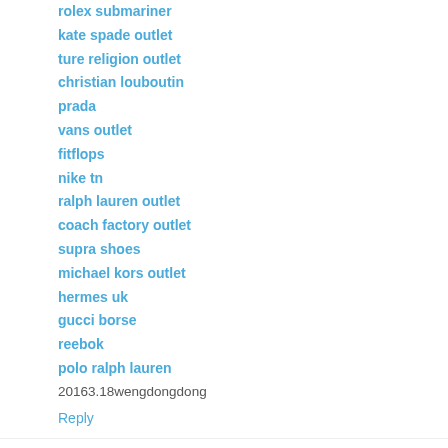rolex submariner (truncated at top)
kate spade outlet
ture religion outlet
christian louboutin
prada
vans outlet
fitflops
nike tn
ralph lauren outlet
coach factory outlet
supra shoes
michael kors outlet
hermes uk
gucci borse
reebok
polo ralph lauren
20163.18wengdongdong
Reply
chenlina  March 30, 2016 at 3:14 PM
chenlina20160330